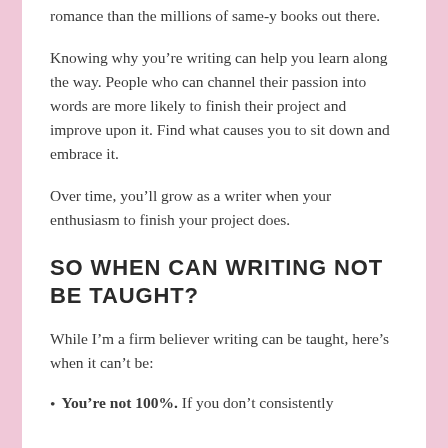romance than the millions of same-y books out there.
Knowing why you’re writing can help you learn along the way. People who can channel their passion into words are more likely to finish their project and improve upon it. Find what causes you to sit down and embrace it.
Over time, you’ll grow as a writer when your enthusiasm to finish your project does.
SO WHEN CAN WRITING NOT BE TAUGHT?
While I’m a firm believer writing can be taught, here’s when it can’t be:
You’re not 100%. If you don’t consistently